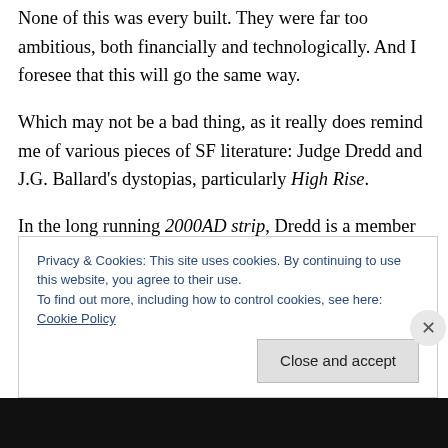None of this was every built. They were far too ambitious, both financially and technologically. And I foresee that this will go the same way.
Which may not be a bad thing, as it really does remind me of various pieces of SF literature: Judge Dredd and J.G. Ballard's dystopias, particularly High Rise.
In the long running 2000AD strip, Dredd is a member of the autocratic police force, the judges, trying to enforce law and order in Mega City 1. This is a gigantic city of massive tower blocks stretching across the entire east
Privacy & Cookies: This site uses cookies. By continuing to use this website, you agree to their use.
To find out more, including how to control cookies, see here: Cookie Policy